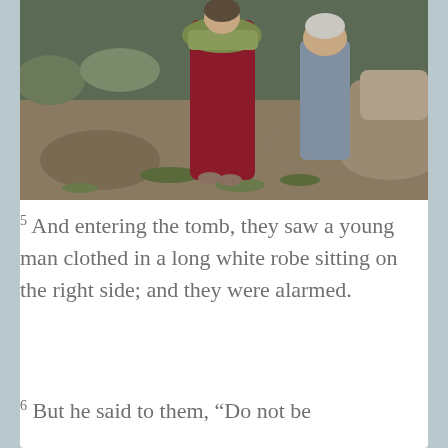[Figure (photo): Outdoor scene showing figures in biblical-era costumes. One person is wearing a long dark red/maroon robe and another in blue/grey garment, walking on rocky ground with sparse grass and stones.]
5 And entering the tomb, they saw a young man clothed in a long white robe sitting on the right side; and they were alarmed.
6 But he said to them, “Do not be